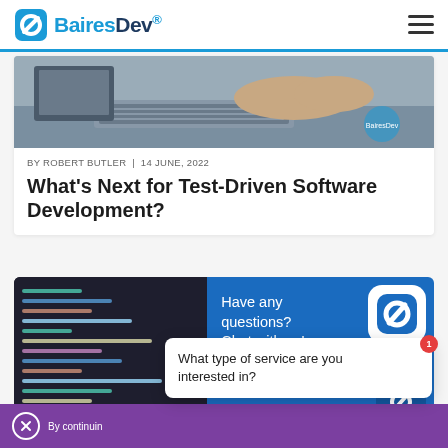[Figure (logo): BairesDev logo with icon and text in blue]
[Figure (photo): Person typing on keyboard at a desk, taken from side]
BY ROBERT BUTLER | 14 JUNE, 2022
What's Next for Test-Driven Software Development?
[Figure (photo): Dark background showing code on a screen]
[Figure (infographic): Blue chat panel reading 'Have any questions? Chat with us!' with BairesDev logo]
By continuin
What type of service are you interested in?